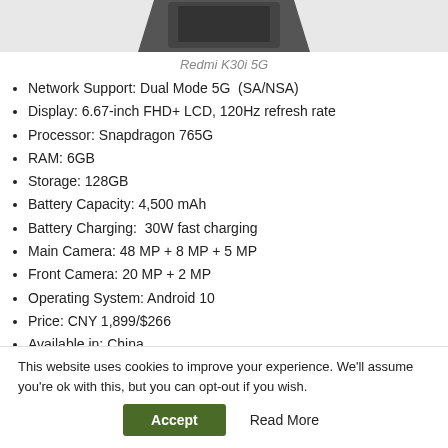[Figure (photo): Partial view of a Redmi K30i 5G smartphone from above, showing the device against a light gray background.]
Redmi K30i 5G
Network Support: Dual Mode 5G  (SA/NSA)
Display: 6.67-inch FHD+ LCD, 120Hz refresh rate
Processor: Snapdragon 765G
RAM: 6GB
Storage: 128GB
Battery Capacity: 4,500 mAh
Battery Charging:  30W fast charging
Main Camera: 48 MP + 8 MP + 5 MP
Front Camera: 20 MP + 2 MP
Operating System: Android 10
Price: CNY 1,899/$266
Available in: China
This website uses cookies to improve your experience. We'll assume you're ok with this, but you can opt-out if you wish.